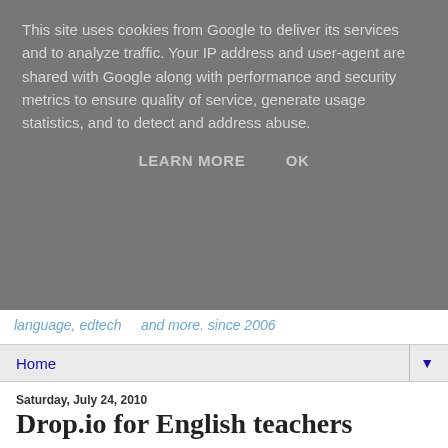This site uses cookies from Google to deliver its services and to analyze traffic. Your IP address and user-agent are shared with Google along with performance and security metrics to ensure quality of service, generate usage statistics, and to detect and address abuse.
LEARN MORE   OK
language, edtech    and more. since 2006
Home
Saturday, July 24, 2010
Drop.io for English teachers
[Figure (logo): drop.io logo with black text 'drop' and red dot before 'io']
[updated November 2010 - a real shame - this service is to cease before Christmas]
Drop.io is a great tool for all teachers. It enables you simply